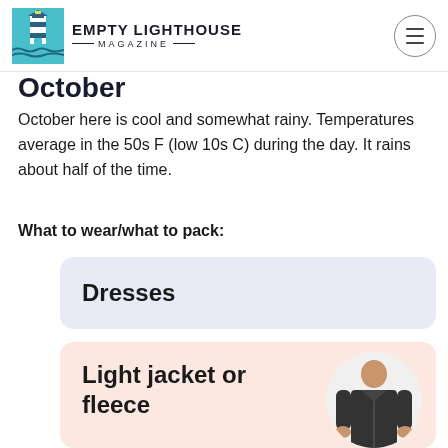EMPTY LIGHTHOUSE MAGAZINE
October
October here is cool and somewhat rainy. Temperatures average in the 50s F (low 10s C) during the day. It rains about half of the time.
What to wear/what to pack:
Dresses
Light jacket or fleece